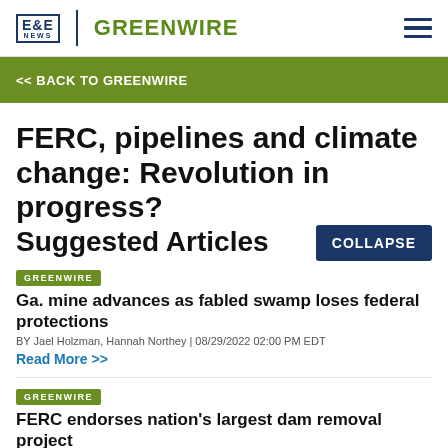E&E NEWS | GREENWIRE
<< BACK TO GREENWIRE
FERC, pipelines and climate change: Revolution in progress?
Suggested Articles
GREENWIRE
Ga. mine advances as fabled swamp loses federal protections
BY Jael Holzman, Hannah Northey | 08/29/2022 02:00 PM EDT
Read More >>
GREENWIRE
FERC endorses nation's largest dam removal project